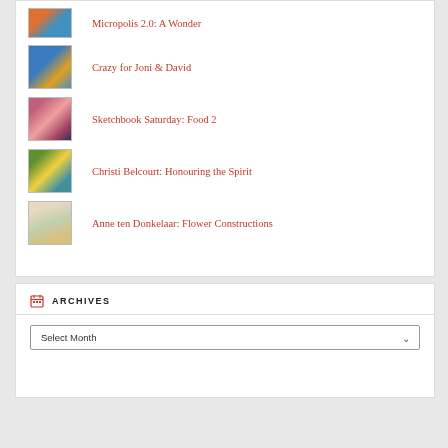Micropolis 2.0: A Wonder
Crazy for Joni & David
Sketchbook Saturday: Food 2
Christi Belcourt: Honouring the Spirit
Anne ten Donkelaar: Flower Constructions
ARCHIVES
Select Month